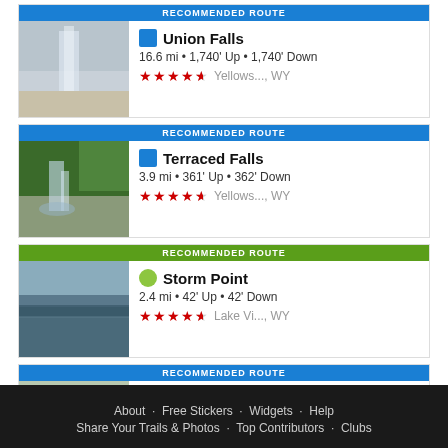RECOMMENDED ROUTE - Union Falls - 16.6 mi • 1,740' Up • 1,740' Down - ★★★★½ Yellows..., WY
RECOMMENDED ROUTE - Terraced Falls - 3.9 mi • 361' Up • 362' Down - ★★★★½ Yellows..., WY
RECOMMENDED ROUTE - Storm Point - 2.4 mi • 42' Up • 42' Down - ★★★★½ Lake Vi..., WY
RECOMMENDED ROUTE - Mary Mountain-Nez Perce - 20.9 mi • 834' Up • 1,317' Down - ★★★★½ Canyon..., WY
About · Free Stickers · Widgets · Help  Share Your Trails & Photos · Top Contributors · Clubs